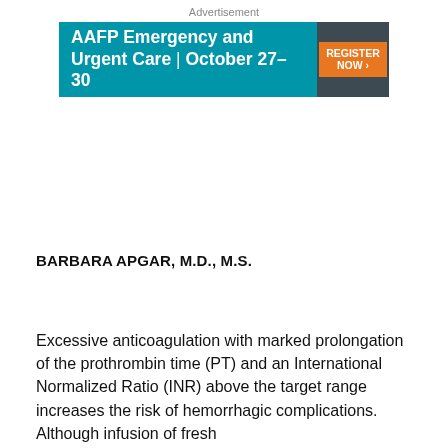Advertisement
[Figure (illustration): AAFP Emergency and Urgent Care | October 27-30 advertisement banner with teal background and orange Register Now button]
BARBARA APGAR, M.D., M.S.
Excessive anticoagulation with marked prolongation of the prothrombin time (PT) and an International Normalized Ratio (INR) above the target range increases the risk of hemorrhagic complications. Although infusion of fresh